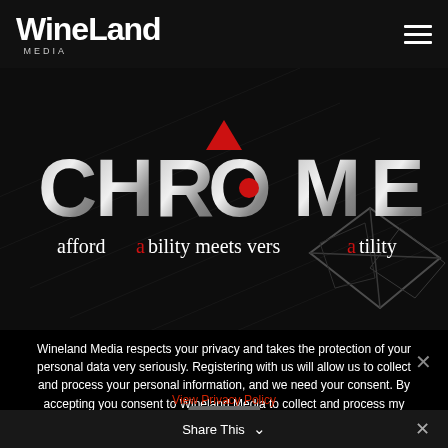[Figure (logo): WineLand Media logo in white bold text with MEDIA subtitle in small caps]
[Figure (logo): Chrome brand logo with metallic silver text and red triangular gem above the O, with tagline 'affordability meets versatility' and abstract tech background]
Wineland Media respects your privacy and takes the protection of your personal data very seriously. Registering with us will allow us to collect and process your personal information, and we need your consent. By accepting you consent to Wineland Media to collect and process my personal information, for purposes of my application.
View Privacy Policy
Share This